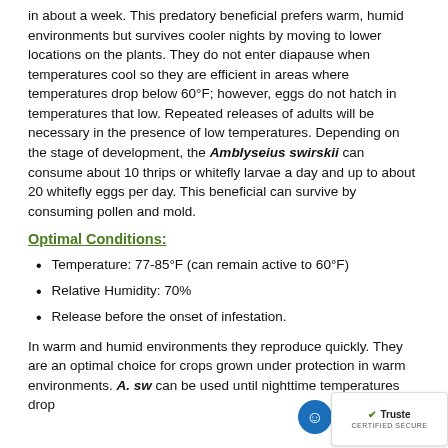in about a week. This predatory beneficial prefers warm, humid environments but survives cooler nights by moving to lower locations on the plants. They do not enter diapause when temperatures cool so they are efficient in areas where temperatures drop below 60°F; however, eggs do not hatch in temperatures that low. Repeated releases of adults will be necessary in the presence of low temperatures. Depending on the stage of development, the Amblyseius swirskii can consume about 10 thrips or whitefly larvae a day and up to about 20 whitefly eggs per day. This beneficial can survive by consuming pollen and mold.
Optimal Conditions:
Temperature: 77-85°F (can remain active to 60°F)
Relative Humidity: 70%
Release before the onset of infestation.
In warm and humid environments they reproduce quickly. They are an optimal choice for crops grown under protection in warm environments. A. sw can be used until nighttime temperatures drop